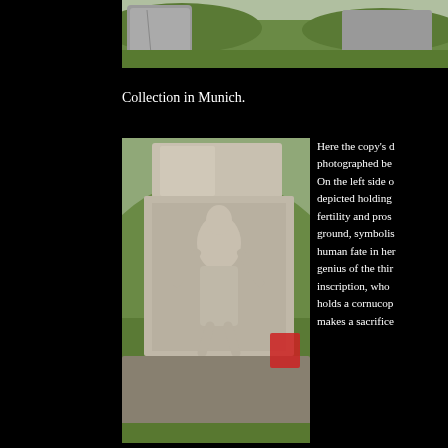[Figure (photo): Top portion showing a large stone or rock formation with green grass hillside in the background, outdoor setting.]
Collection in Munich.
[Figure (photo): A stone relief monument or altar showing a carved figure holding objects, set against a green hillside background. A red object is partially visible at the right edge.]
Here the copy's d... photographed be... On the left side o... depicted holding ... fertility and pros... ground, symbolis... human fate in her... genius of the thir... inscription, who ... holds a cornucop... makes a sacrifice...